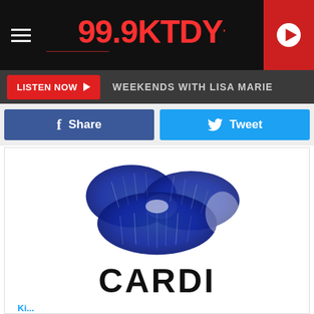[Figure (screenshot): 99.9 KTDY radio station website header with logo, hamburger menu, and red play button]
LISTEN NOW  WEEKENDS WITH LISA MARIE
Share  Tweet
[Figure (illustration): Blue lipstick kiss mark / lips print on white background with text CARDI below it]